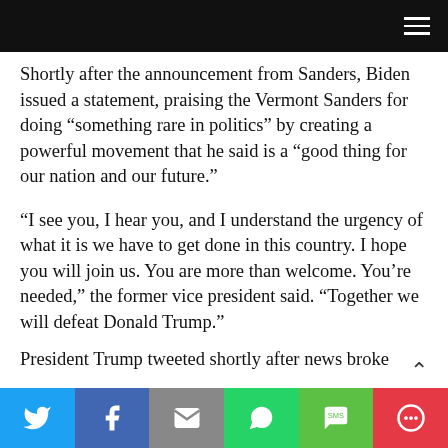Navigation bar
Shortly after the announcement from Sanders, Biden issued a statement, praising the Vermont Sanders for doing “something rare in politics” by creating a powerful movement that he said is a “good thing for our nation and our future.”
“I see you, I hear you, and I understand the urgency of what it is we have to get done in this country. I hope you will join us. You are more than welcome. You’re needed,” the former vice president said. “Together we will defeat Donald Trump.”
President Trump tweeted shortly after news broke
Social share bar: Twitter, Facebook, Email, WhatsApp, SMS, More